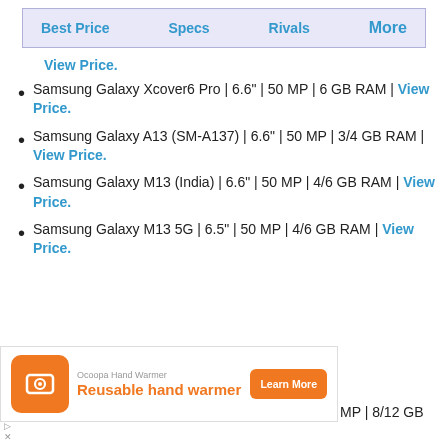Best Price | Specs | Rivals | More
View Price.
Samsung Galaxy Xcover6 Pro | 6.6" | 50 MP | 6 GB RAM | View Price.
Samsung Galaxy A13 (SM-A137) | 6.6" | 50 MP | 3/4 GB RAM | View Price.
Samsung Galaxy M13 (India) | 6.6" | 50 MP | 4/6 GB RAM | View Price.
Samsung Galaxy M13 5G | 6.5" | 50 MP | 4/6 GB RAM | View Price.
[Figure (other): Advertisement banner for Ocoopa Hand Warmer showing 'Reusable hand warmer' with Learn More button]
MP | 8/12 GB